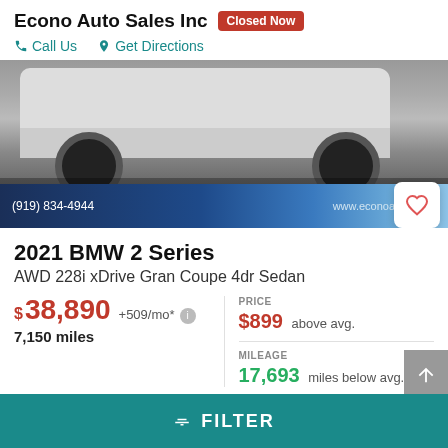Econo Auto Sales Inc Closed Now
Call Us   Get Directions
[Figure (photo): Photo of a white BMW 2 Series vehicle from below/side angle, showing wheels and lower body, with a blue banner at the bottom showing phone number (919) 834-4944 and website www.econoautosales]
2021 BMW 2 Series
AWD 228i xDrive Gran Coupe 4dr Sedan
$38,890 +509/mo* 7,150 miles
PRICE $899 above avg.
MILEAGE 17,693 miles below avg.
Econo Auto Sales Inc
FILTER